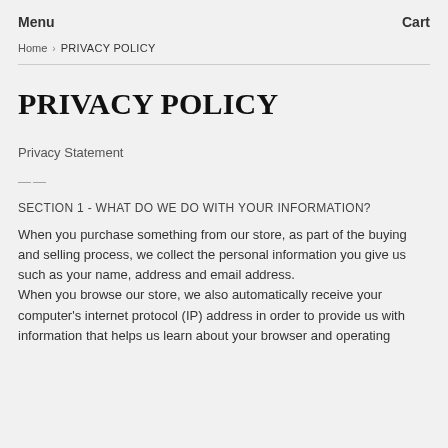Menu    Cart
Home › PRIVACY POLICY
PRIVACY POLICY
Privacy Statement
——
SECTION 1 - WHAT DO WE DO WITH YOUR INFORMATION?
When you purchase something from our store, as part of the buying and selling process, we collect the personal information you give us such as your name, address and email address.
When you browse our store, we also automatically receive your computer's internet protocol (IP) address in order to provide us with information that helps us learn about your browser and operating